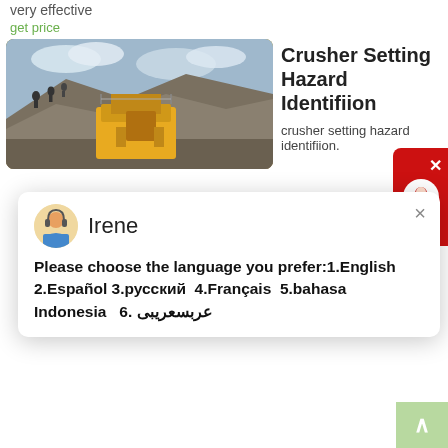very effective
get price
[Figure (photo): Yellow mobile stone crusher/jaw crusher machine at a quarry site with workers on a rocky hill in the background under a cloudy sky.]
Crusher Setting Hazard Identifiion
crusher setting hazard identifiion.
for any size-reduction requirements including quarry, aggregate, and different kinds of minerals. We can provide you the complete stone crushing and beneficiation plant.We also supply standalone crushers, mills and
get price
[Figure (photo): Industrial crusher/stone crushing machinery against a partly cloudy sky.]
Crusher Setting Hazard Identification